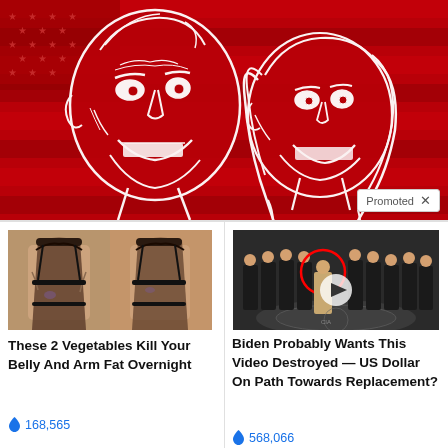[Figure (illustration): Red background with white outline caricature illustrations of two political figures (a man and a woman) in front of an American flag motif. A 'Promoted X' badge appears in the bottom-right corner of the image.]
[Figure (photo): Before and after photo showing two women's backs in black bras, suggesting a weight loss transformation.]
These 2 Vegetables Kill Your Belly And Arm Fat Overnight
168,565
[Figure (screenshot): Photo of a group of men in suits standing in a formal setting with a CIA-style emblem on the floor, with a red circle highlighting one person and a play button overlay.]
Biden Probably Wants This Video Destroyed — US Dollar On Path Towards Replacement?
568,066